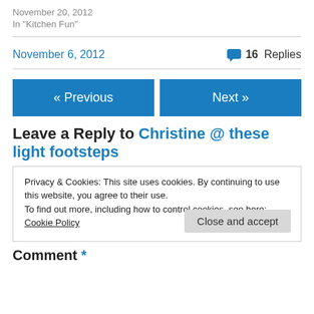November 20, 2012
In "Kitchen Fun"
November 6, 2012
16 Replies
« Previous
Next »
Leave a Reply to Christine @ these light footsteps
Privacy & Cookies: This site uses cookies. By continuing to use this website, you agree to their use.
To find out more, including how to control cookies, see here: Cookie Policy
Close and accept
Comment *